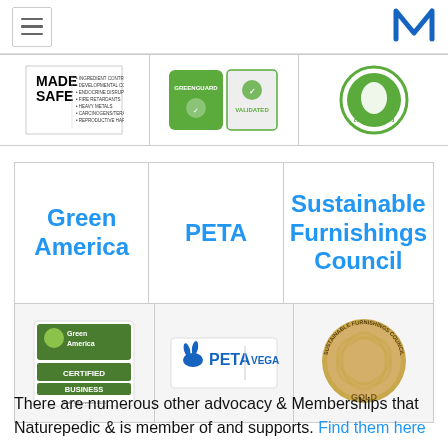Navigation header with hamburger menu and M logo
[Figure (logo): Made Safe certification label with checklist]
[Figure (logo): GREENGUARD certification badge and VALIDATED badge]
[Figure (logo): Organic content standard circular green logo]
Green America
PETA
Sustainable Furnishings Council
[Figure (logo): Green America Certified Business logo]
[Figure (logo): PETA Vegan logo]
[Figure (logo): Sustainable Furnishings Council Gold circular seal]
There are numerous other advocacy & Memberships that Naturepedic & is member of and supports. Find them here